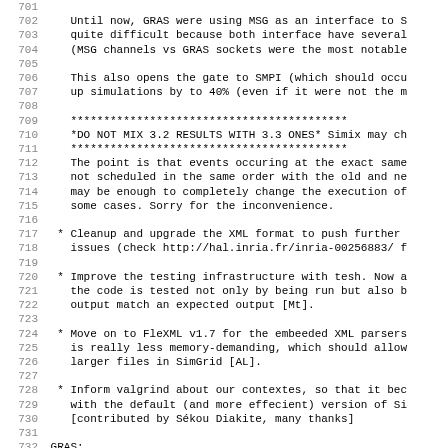701
702     Until now, GRAS were using MSG as an interface to S
703     quite difficult because both interface have several
704     (MSG channels vs GRAS sockets were the most notable
705
706     This also opens the gate to SMPI (which should occu
707     up simulations by to 40% (even if it were not the m
708
709     ******************************************
710     *DO NOT MIX 3.2 RESULTS WITH 3.3 ONES* Simix may ch
711     ******************************************
712     The point is that events occuring at the exact same
713     not scheduled in the same order with the old and ne
714     may be enough to completely change the execution of
715     some cases. Sorry for the inconvenience.
716
717   * Cleanup and upgrade the XML format to push further
718     issues (check http://hal.inria.fr/inria-00256883/ f
719
720   * Improve the testing infrastructure with tesh. Now a
721     the code is tested not only by being run but also b
722     output match an expected output [Mt].
723
724   * Move on to FleXML v1.7 for the embeeded XML parsers
725     is really less memory-demanding, which should allow
726     larger files in SimGrid [AL].
727
728   * Inform valgrind about our contextes, so that it bec
729     with the default (and more effecient) version of Si
730     [contributed by Sékou Diakite, many thanks]
731
732 GRAS:
733   * Introduce a listener thread in charge of receivin